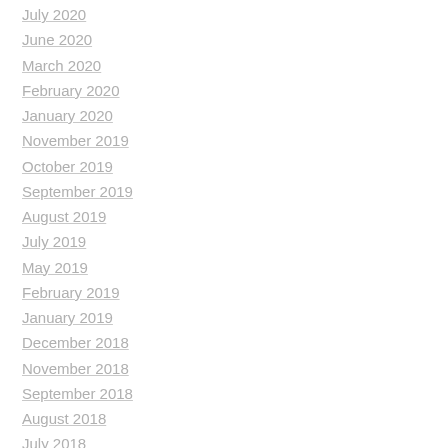July 2020
June 2020
March 2020
February 2020
January 2020
November 2019
October 2019
September 2019
August 2019
July 2019
May 2019
February 2019
January 2019
December 2018
November 2018
September 2018
August 2018
July 2018
May 2018